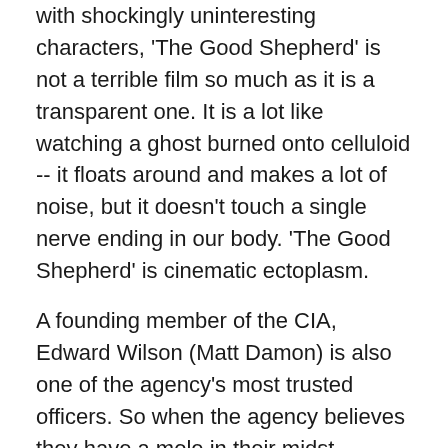with shockingly uninteresting characters, 'The Good Shepherd' is not a terrible film so much as it is a transparent one. It is a lot like watching a ghost burned onto celluloid -- it floats around and makes a lot of noise, but it doesn't touch a single nerve ending in our body. 'The Good Shepherd' is cinematic ectoplasm.
A founding member of the CIA, Edward Wilson (Matt Damon) is also one of the agency's most trusted officers. So when the agency believes they have a mole in their midst, Wilson is given the job of discovering the disloyal entity, and bringing them to justice. It is a journey that will come at great personal cost and one that will eventually put his own morals to the test.